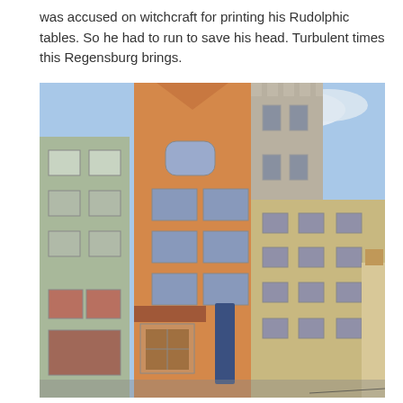was accused on witchcraft for printing his Rudolphic tables. So he had to run to save his head. Turbulent times this Regensburg brings.
[Figure (photo): Exterior photograph of the Kepler Museum in Regensburg, showing a row of historical multi-storey buildings. The central building is orange/ochre coloured with multiple windows and a stepped gable roof. A vertical banner reading 'KEPLER MUSEUM' hangs on its facade. To the left is a sage-green building and to the right is a tall stone tower and another building. Blue sky with clouds is visible above.]